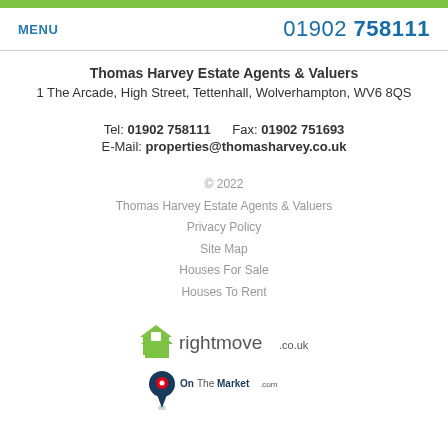MENU   01902 758111
Thomas Harvey Estate Agents & Valuers
1 The Arcade, High Street, Tettenhall, Wolverhampton, WV6 8QS
Tel: 01902 758111   Fax: 01902 751693
E-Mail: properties@thomasharvey.co.uk
© 2022
Thomas Harvey Estate Agents & Valuers
Privacy Policy
Site Map
Houses For Sale
Houses To Rent
[Figure (logo): Rightmove logo with green house icon and 'rightmove.co.uk' text]
[Figure (logo): OnTheMarket.com logo with red and navy map pin icon]